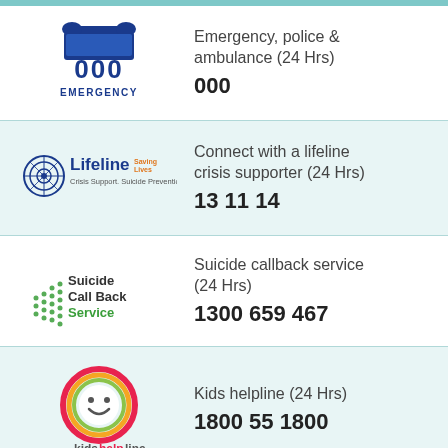[Figure (logo): 000 Emergency telephone logo — blue telephone handset icon above '000' and 'EMERGENCY' text]
Emergency, police & ambulance (24 Hrs)
000
[Figure (logo): Lifeline Saving Lives logo — blue circular target icon with 'Lifeline Saving Lives' text and 'Crisis Support. Suicide Prevention.' tagline]
Connect with a lifeline crisis supporter (24 Hrs)
13 11 14
[Figure (logo): Suicide Call Back Service logo — green dotted pattern beside 'Suicide Call Back Service' text in dark and green colors]
Suicide callback service (24 Hrs)
1300 659 467
[Figure (logo): Kids Helpline logo — circular smiley face with rainbow-colored ring and 'kidshelpline' text]
Kids helpline (24 Hrs)
1800 55 1800